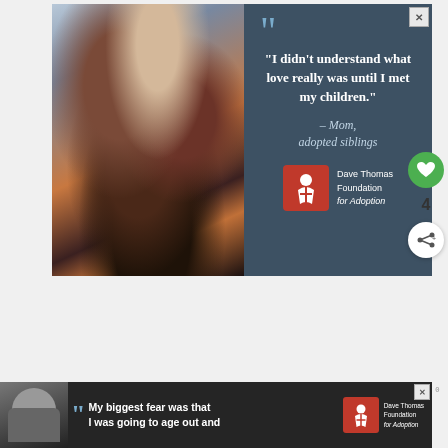[Figure (photo): Advertisement banner for Dave Thomas Foundation for Adoption. Left half: photo of a smiling Black family (father, two daughters, mother). Right half: dark teal background with large quotation mark, text quote 'I didn't understand what love really was until I met my children.' attributed to '– Mom, adopted siblings', and Dave Thomas Foundation for Adoption logo. X close button in top-right corner.]
[Figure (infographic): Social sidebar with green heart/like button, count of 4, and white share button with plus icon.]
However, you'll need to first link your Varo
[Figure (photo): Bottom advertisement banner for Dave Thomas Foundation for Adoption. Left: greyscale photo of person wearing beanie. Quote mark, text 'My biggest fear was that I was going to age out and', Dave Thomas Foundation for Adoption logo and text. X close button.]